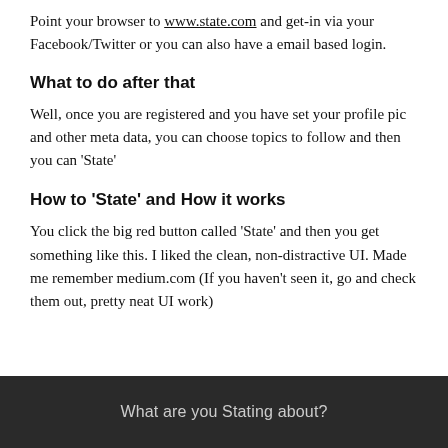Point your browser to www.state.com and get-in via your Facebook/Twitter or you can also have a email based login.
What to do after that
Well, once you are registered and you have set your profile pic and other meta data, you can choose topics to follow and then you can 'State'
How to 'State' and How it works
You click the big red button called 'State' and then you get something like this. I liked the clean, non-distractive UI. Made me remember medium.com (If you haven't seen it, go and check them out, pretty neat UI work)
[Figure (screenshot): Dark bar UI element with centered text reading 'What are you Stating about?']